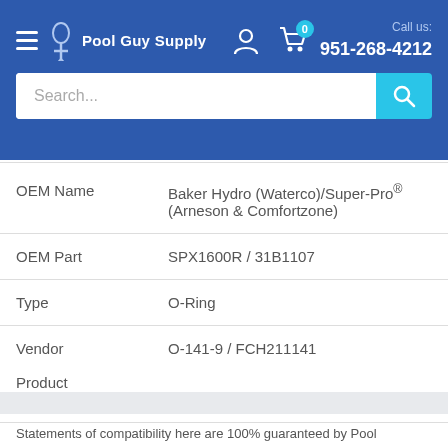[Figure (screenshot): Pool Guy Supply website header with logo, navigation icons, phone number 951-268-4212, and search bar]
| Field | Value |
| --- | --- |
| OEM Name | Baker Hydro (Waterco)/Super-Pro® (Arneson & Comfortzone) |
| OEM Part | SPX1600R / 31B1107 |
| Type | O-Ring |
| Vendor |  |
| Product Number | O-141-9 / FCH211141 |
Statements of compatibility here are 100% guaranteed by Pool